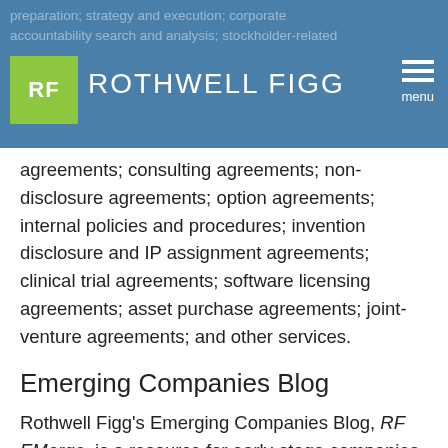preparation; strategy and execution; corporate accountability search and analysis; stockholder-related
ROTHWELL FIGG
agreements; consulting agreements; non-disclosure agreements; option agreements; internal policies and procedures; invention disclosure and IP assignment agreements; clinical trial agreements; software licensing agreements; asset purchase agreements; joint-venture agreements; and other services.
Emerging Companies Blog
Rothwell Figg’s Emerging Companies Blog, RF EMerge, is a resource for early-stage companies providing content on common challenges they face, pertinent industry trends and analysis, and key